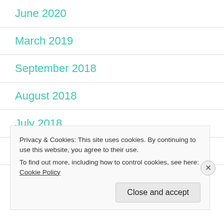June 2020
March 2019
September 2018
August 2018
July 2018
May 2018
Privacy & Cookies: This site uses cookies. By continuing to use this website, you agree to their use.
To find out more, including how to control cookies, see here: Cookie Policy
Close and accept